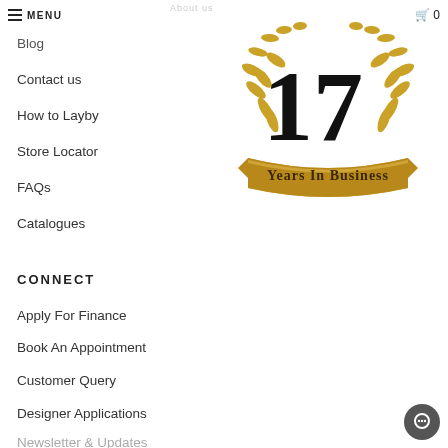MENU
Blog
Contact us
How to Layby
Store Locator
FAQs
Catalogues
[Figure (illustration): Gold laurel wreath badge with large '17' in the center and a gold ribbon banner reading 'Years In Business']
CONNECT
Apply For Finance
Book An Appointment
Customer Query
Designer Applications
Newsletter & Updates